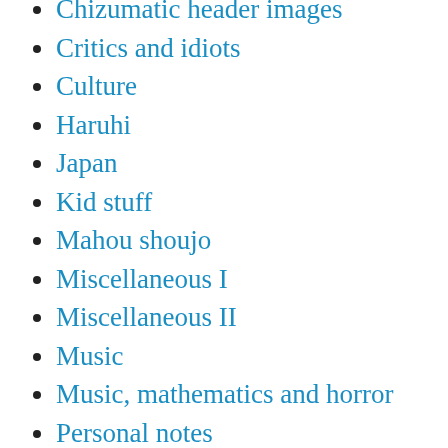Chizumatic header images
Critics and idiots
Culture
Haruhi
Japan
Kid stuff
Mahou shoujo
Miscellaneous I
Miscellaneous II
Music
Music, mathematics and horror
Personal notes
Sailor Moon
Silly stuff
Tezuka
Why anime?
Yoshitoshi ABe